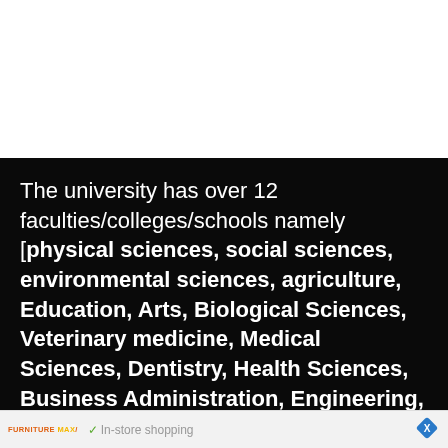The university has over 12 faculties/colleges/schools namely [physical sciences, social sciences, environmental sciences, agriculture, Education, Arts, Biological Sciences, Veterinary medicine, Medical Sciences, Dentistry, Health Sciences, Business Administration, Engineering, Law, Pharmaceutical Sciences]
[Figure (other): Advertisement banner showing Furniture Max logo with in-store shopping, in-store pickup, and delivery options, with a close button diamond icon]